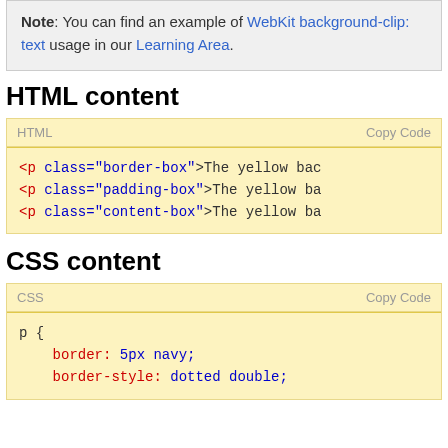Note: You can find an example of WebKit background-clip: text usage in our Learning Area.
HTML content
<p class="border-box">The yellow bac
<p class="padding-box">The yellow ba
<p class="content-box">The yellow ba
CSS content
p {
    border: 5px navy;
    border-style: dotted double;